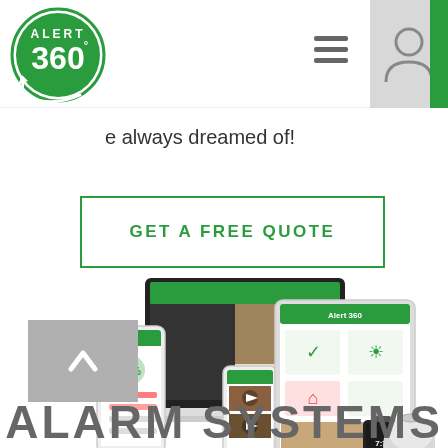[Figure (logo): Alert 360 circular green logo with text ALERT and 360]
[Figure (infographic): Hamburger menu icon (three horizontal lines) and user account icon in gray box with green right stripe]
e always dreamed of!
[Figure (illustration): GET A FREE QUOTE button with green border]
[Figure (screenshot): Multiple devices showing Alert 360 app interface: laptop, tablet, two smartphones, smartwatch, and smart speaker]
[Figure (illustration): Gray scroll-up button with upward chevron arrow]
ALARM SYSTEMS